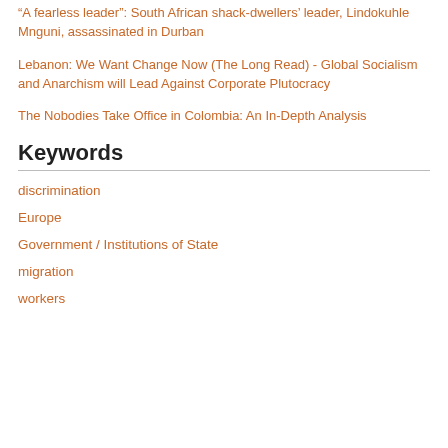“A fearless leader”: South African shack-dwellers’ leader, Lindokuhle Mnguni, assassinated in Durban
Lebanon: We Want Change Now (The Long Read) - Global Socialism and Anarchism will Lead Against Corporate Plutocracy
The Nobodies Take Office in Colombia: An In-Depth Analysis
Keywords
discrimination
Europe
Government / Institutions of State
migration
workers